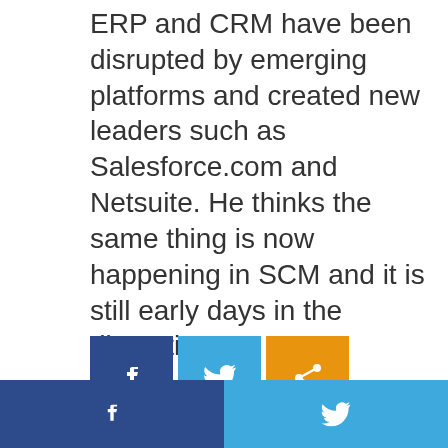ERP and CRM have been disrupted by emerging platforms and created new leaders such as Salesforce.com and Netsuite. He thinks the same thing is now happening in SCM and it is still early days in the disruption.
[Figure (infographic): Social sharing buttons: Facebook (blue), Twitter (light blue), Share (orange)]
About The Author / Nick Waddell
[Figure (photo): Circular headshot photo of Nick Waddell]
Cantech Letter founder and editor Nick Waddell has lived in five Canadian provinces and is proud of his country's often overlooked contributions to the world of science and technology. Waddell takes a regular shift on the Canadian media circuit, making appearances on CTV, CBC and BNN, and contributing to publications such as Canadian Bu...
[Figure (infographic): Sticky bottom bar with Facebook and Twitter sharing buttons]